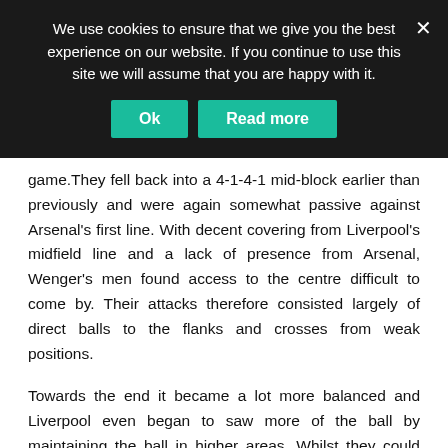We use cookies to ensure that we give you the best experience on our website. If you continue to use this site we will assume that you are happy with it.
game.They fell back into a 4-1-4-1 mid-block earlier than previously and were again somewhat passive against Arsenal's first line. With decent covering from Liverpool's midfield line and a lack of presence from Arsenal, Wenger's men found access to the centre difficult to come by. Their attacks therefore consisted largely of direct balls to the flanks and crosses from weak positions.
Towards the end it became a lot more balanced and Liverpool even began to saw more of the ball by maintaining the ball in higher areas. Whilst they could press Liverpool rather effectively in the opponents' half, Arsenal lacked a cohesive pressing structure in their own half. Despite being a goal behind Arsenal were still fairly passive when defending in their own half, on the occasions they did attempt to press the efforts were rather individual and improvised and thus easy to play around. Liverpool used this weakness to maintain possession in higher